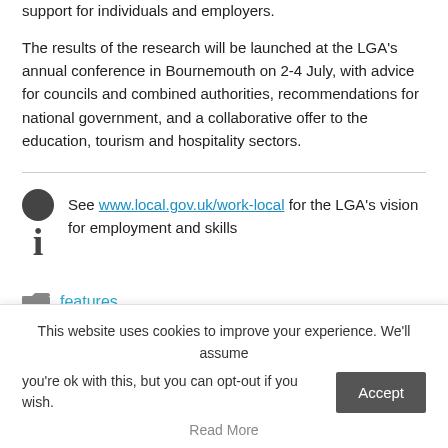support for individuals and employers.
The results of the research will be launched at the LGA's annual conference in Bournemouth on 2-4 July, with advice for councils and combined authorities, recommendations for national government, and a collaborative offer to the education, tourism and hospitality sectors.
See www.local.gov.uk/work-local for the LGA's vision for employment and skills
features
This website uses cookies to improve your experience. We'll assume you're ok with this, but you can opt-out if you wish.
Read More